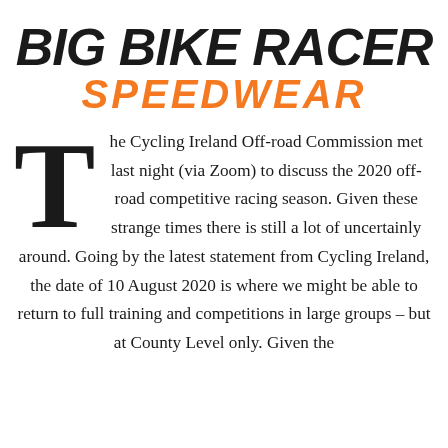[Figure (logo): Big Bike Racer Speedwear logo — bold italic black text on top with orange italic SPEEDWEAR below]
The Cycling Ireland Off-road Commission met last night (via Zoom) to discuss the 2020 off-road competitive racing season. Given these strange times there is still a lot of uncertainly around. Going by the latest statement from Cycling Ireland, the date of 10 August 2020 is where we might be able to return to full training and competitions in large groups – but at County Level only. Given the